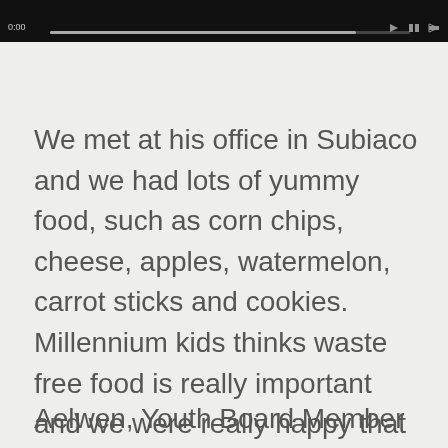[Figure (screenshot): Video player control bar at top of page, dark/black background with progress bar and playback controls]
We met at his office in Subiaco and we had lots of yummy food, such as corn chips, cheese, apples, watermelon, carrot sticks and cookies. Millennium kids thinks waste free food is really important and we were really happy that all the food was not in packaging and that it was all so delicious.
Aelwen, Youth Board Member